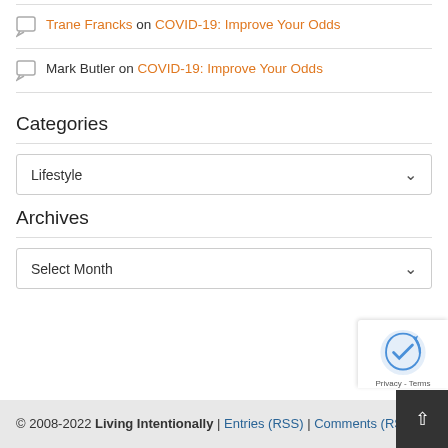Trane Francks on COVID-19: Improve Your Odds
Mark Butler on COVID-19: Improve Your Odds
Categories
Lifestyle (dropdown)
Archives
Select Month (dropdown)
© 2008-2022 Living Intentionally | Entries (RSS) | Comments (RSS)